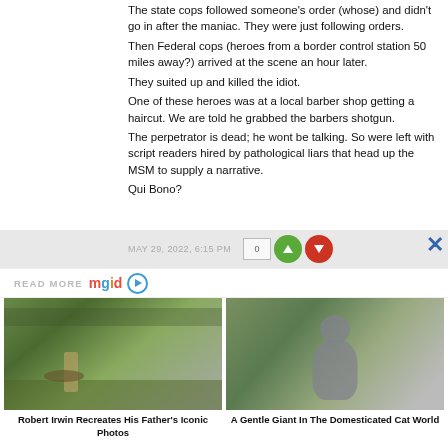The state cops followed someone's order (whose) and didn't go in after the maniac. They were just following orders.
Then Federal cops (heroes from a border control station 50 miles away?) arrived at the scene an hour later.
They suited up and killed the idiot.
One of these heroes was at a local barber shop getting a haircut. We are told he grabbed the barbers shotgun.
The perpetrator is dead; he wont be talking. So were left with script readers hired by pathological liars that head up the MSM to supply a narrative.
Qui Bono?
MAY 29, 2022, 6:15 PM
[Figure (screenshot): mgid READ MORE advertisement bar with logo and play button]
[Figure (photo): Robert Irwin wrestling a crocodile in front of a crowd]
Robert Irwin Recreates His Father's Iconic Photos
[Figure (photo): A grey British Shorthair cat sitting outdoors in greenery]
A Gentle Giant In The Domesticated Cat World